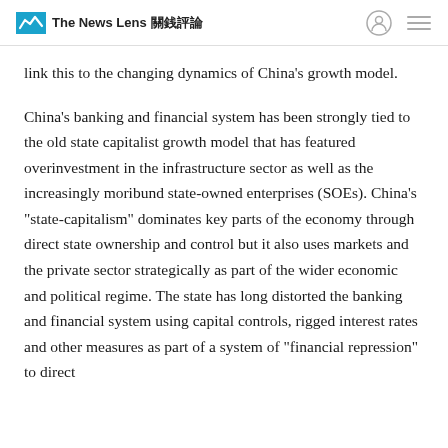The News Lens 關鍵評論
link this to the changing dynamics of China's growth model.
China's banking and financial system has been strongly tied to the old state capitalist growth model that has featured overinvestment in the infrastructure sector as well as the increasingly moribund state-owned enterprises (SOEs). China's "state-capitalism" dominates key parts of the economy through direct state ownership and control but it also uses markets and the private sector strategically as part of the wider economic and political regime. The state has long distorted the banking and financial system using capital controls, rigged interest rates and other measures as part of a system of "financial repression" to direct